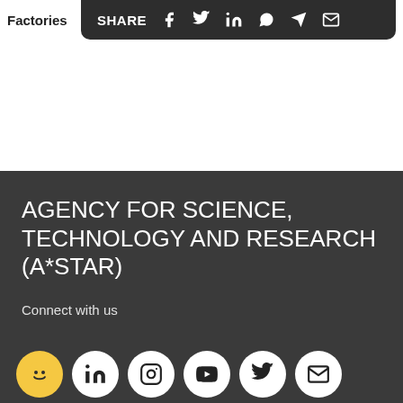Factories
SHARE
AGENCY FOR SCIENCE, TECHNOLOGY AND RESEARCH (A*STAR)
Connect with us